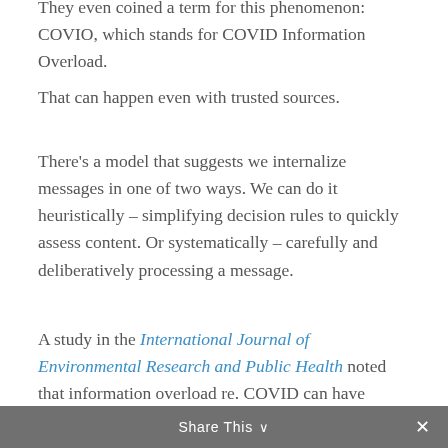They even coined a term for this phenomenon: COVIO, which stands for COVID Information Overload.
That can happen even with trusted sources.
There's a model that suggests we internalize messages in one of two ways. We can do it heuristically – simplifying decision rules to quickly assess content. Or systematically – carefully and deliberatively processing a message.
A study in the International Journal of Environmental Research and Public Health noted that information overload re. COVID can have adverse effects. It was associated with the tendency toward greater heuristic and less systematic processing. Why does that matter? People were less likely to enact prevention behaviours when the information was processed heuristically. Another side effect of COVIO,
On the other hand, COVID may have helped to cure
Share This